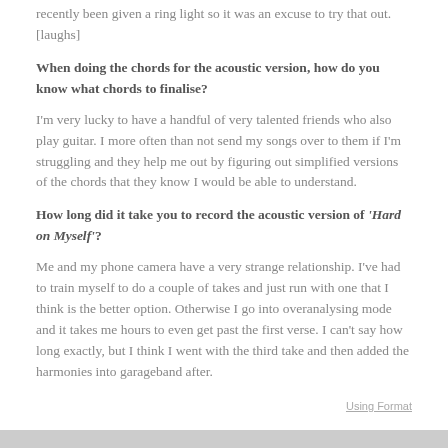recently been given a ring light so it was an excuse to try that out. [laughs]
When doing the chords for the acoustic version, how do you know what chords to finalise?
I'm very lucky to have a handful of very talented friends who also play guitar. I more often than not send my songs over to them if I'm struggling and they help me out by figuring out simplified versions of the chords that they know I would be able to understand.
How long did it take you to record the acoustic version of 'Hard on Myself'?
Me and my phone camera have a very strange relationship. I've had to train myself to do a couple of takes and just run with one that I think is the better option. Otherwise I go into overanalysing mode and it takes me hours to even get past the first verse. I can't say how long exactly, but I think I went with the third take and then added the harmonies into garageband after.
Using Format